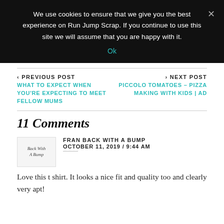We use cookies to ensure that we give you the best experience on Run Jump Scrap. If you continue to use this site we will assume that you are happy with it.
Ok
< PREVIOUS POST
WHAT TO EXPECT WHEN YOU'RE EXPECTING TO MEET FELLOW MUMS
> NEXT POST
PICCOLO TOMATOES – PIZZA MAKING WITH KIDS | AD
11 Comments
FRAN BACK WITH A BUMP
OCTOBER 11, 2019 / 9:44 AM
Love this t shirt. It looks a nice fit and quality too and clearly very apt!